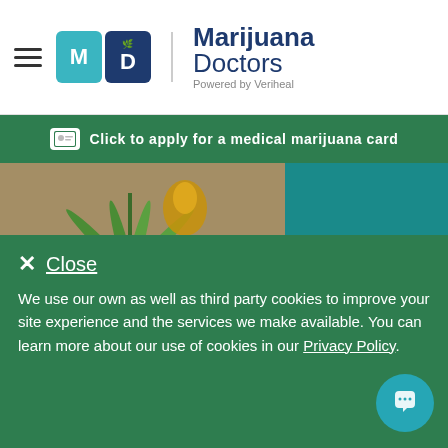[Figure (logo): Marijuana Doctors logo with M and D icon blocks and 'Powered by Veriheal' subtitle]
[Figure (infographic): Green banner with ID card icon: Click to apply for a medical marijuana card]
[Figure (photo): Cannabis plant leaf with CBD oil dropper on burlap background]
Lymphoma & CBD
Read Article
[Figure (photo): Partial bottom image strip showing cannabis-related content]
We use our own as well as third party cookies to improve your site experience and the services we make available. You can learn more about our use of cookies in our Privacy Policy.